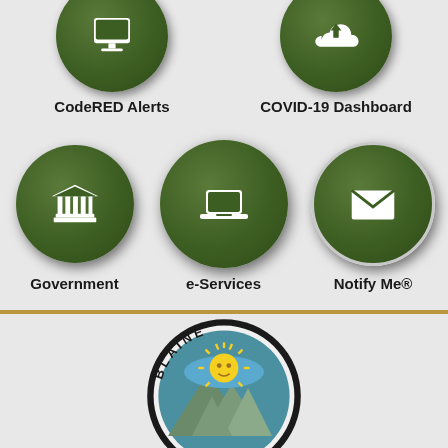[Figure (screenshot): Government app interface showing navigation icons: CodeRED Alerts (bell icon), COVID-19 Dashboard (cloud icon), Government (building/columns icon), e-Services (laptop icon), Notify Me® (envelope icon), and Blaine city seal logo at bottom.]
CodeRED Alerts
COVID-19 Dashboard
Government
e-Services
Notify Me®